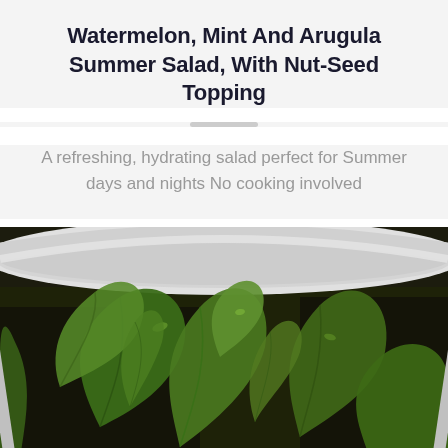Watermelon, Mint And Arugula Summer Salad, With Nut-Seed Topping
A refreshing, hydrating salad perfect for Summer days and nights No cooking involved
[Figure (photo): Close-up photo of fresh green arugula/spinach leaves in a metal colander/strainer, on a dark background]